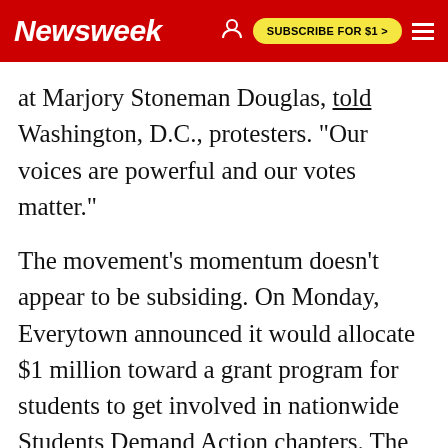Newsweek | SUBSCRIBE FOR $1 >
at Marjory Stoneman Douglas, told Washington, D.C., protesters. "Our voices are powerful and our votes matter."
The movement's momentum doesn't appear to be subsiding. On Monday, Everytown announced it would allocate $1 million toward a grant program for students to get involved in nationwide Students Demand Action chapters. The organization will also assist with voter registration drives, including pre-registering 16- and 17-year-olds.